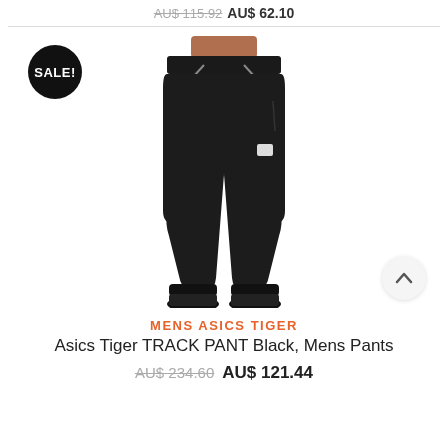AU$ 115.92 AU$ 62.10
[Figure (photo): Man wearing black Asics Tiger track pants with drawstring waist and cuffed ankles, wearing black sneakers, torso cropped. A black circular SALE badge is overlaid on the top left. A scroll-up button is overlaid bottom right.]
MENS ASICS TIGER
Asics Tiger TRACK PANT Black, Mens Pants
AU$ 234.60 AU$ 121.44